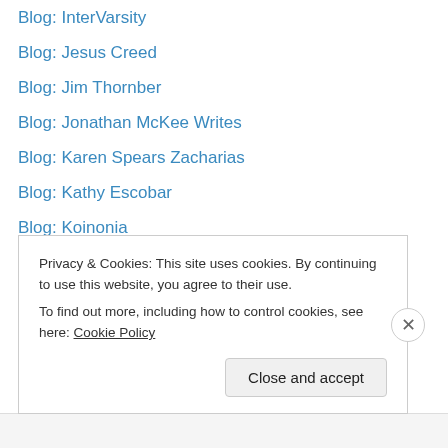Blog: InterVarsity
Blog: Jesus Creed
Blog: Jim Thornber
Blog: Jonathan McKee Writes
Blog: Karen Spears Zacharias
Blog: Kathy Escobar
Blog: Koinonia
Blog: KoyuaNet
Blog: Learning My Lines
Blog: Letter Pile (Inspirational)
Blog: Life in the Kingdom
Blog: Lorne Anderson
Blog: Man of Depravity
Blog: Master's Table
Privacy & Cookies: This site uses cookies. By continuing to use this website, you agree to their use.
To find out more, including how to control cookies, see here: Cookie Policy
Close and accept